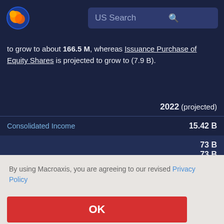[Figure (logo): Macroaxis globe logo — orange and blue circular icon]
US Search
to grow to about 166.5 M, whereas Issuance Purchase of Equity Shares is projected to grow to (7.9 B).
|  | 2022 (projected) |
| --- | --- |
| Consolidated Income | 15.42 B |
| [partially hidden row] | [partially visible] 73 B |
By using Macroaxis, you are agreeing to our revised Privacy Policy
OK
Accounts   Total